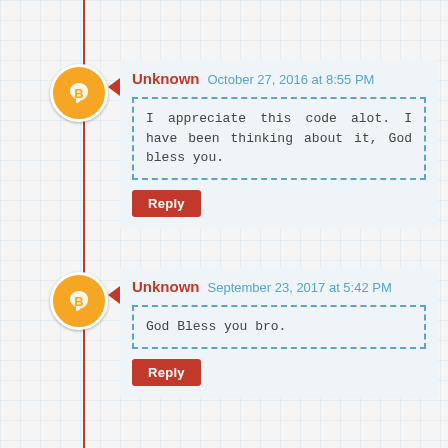Unknown  October 27, 2016 at 8:55 PM
I appreciate this code alot. I have been thinking about it, God bless you.
Reply
Unknown  September 23, 2017 at 5:42 PM
God Bless you bro.
Reply